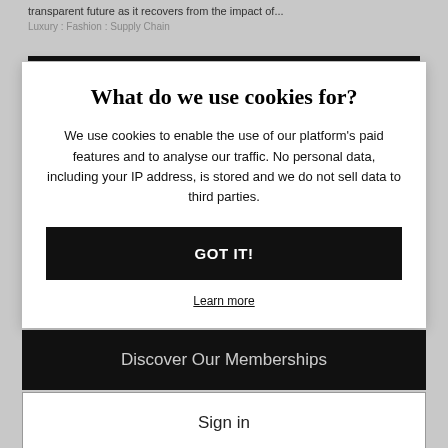transparent future as it recovers from the impact of...
Luxury : Fashion : Supply Chain
What do we use cookies for?
We use cookies to enable the use of our platform's paid features and to analyse our traffic. No personal data, including your IP address, is stored and we do not sell data to third parties.
GOT IT!
Learn more
Discover Our Memberships
Sign in